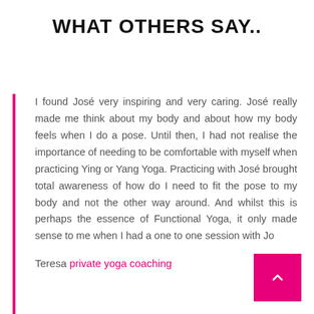WHAT OTHERS SAY..
I found José very inspiring and very caring. José really made me think about my body and about how my body feels when I do a pose. Until then, I had not realise the importance of needing to be comfortable with myself when practicing Ying or Yang Yoga. Practicing with José brought total awareness of how do I need to fit the pose to my body and not the other way around. And whilst this is perhaps the essence of Functional Yoga, it only made sense to me when I had a one to one session with Jo
Teresa private yoga coaching